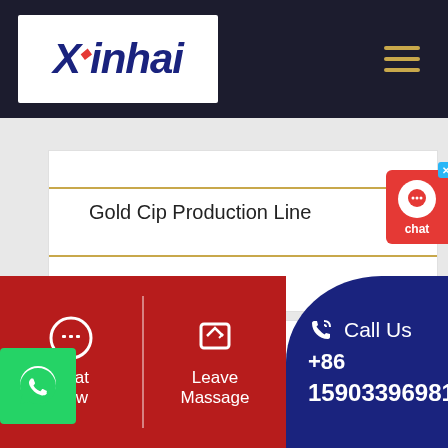Xinhai
Gold Cip Production Line
Related Post
Chat Now | Leave Massage | Call Us +86 15903396981